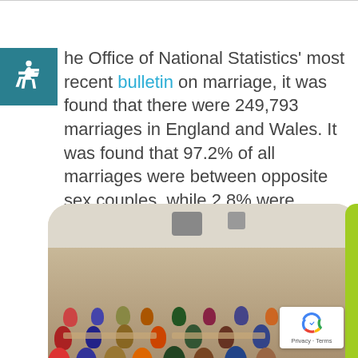the Office of National Statistics' most recent bulletin on marriage, it was found that there were 249,793 marriages in England and Wales. It was found that 97.2% of all marriages were between opposite sex couples, while 2.8% were between same sex couples.
[Figure (photo): Photo of a large community gathering or event in a hall with many people seated at tables, colorful banner on the back wall, ceiling speakers visible.]